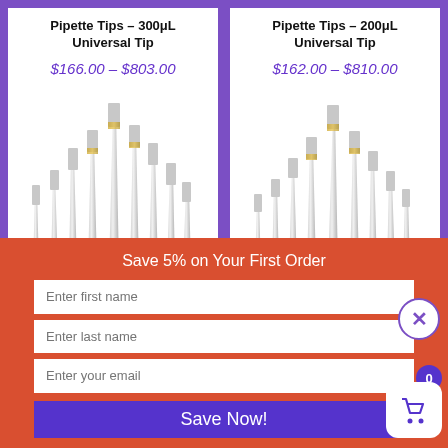Pipette Tips – 300μL Universal Tip
$166.00 – $803.00
Pipette Tips – 200μL Universal Tip
$162.00 – $810.00
[Figure (photo): Two sets of pipette tips arranged by ascending height, shown against white backgrounds]
Save 5% on Your First Order
Enter first name
Enter last name
Enter your email
Save Now!